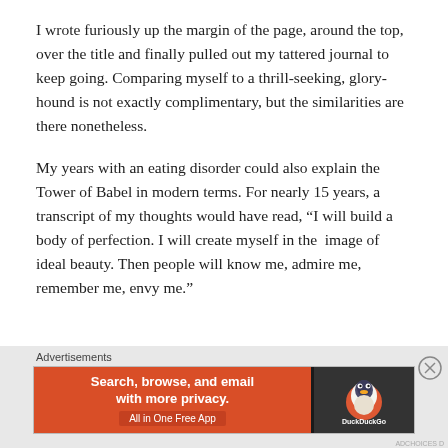I wrote furiously up the margin of the page, around the top, over the title and finally pulled out my tattered journal to keep going. Comparing myself to a thrill-seeking, glory-hound is not exactly complimentary, but the similarities are there nonetheless.
My years with an eating disorder could also explain the Tower of Babel in modern terms. For nearly 15 years, a transcript of my thoughts would have read, “I will build a body of perfection. I will create myself in the image of ideal beauty. Then people will know me, admire me, remember me, envy me.”
Advertisements
[Figure (infographic): DuckDuckGo advertisement banner: orange left panel with text 'Search, browse, and email with more privacy. All in One Free App' and dark right panel with DuckDuckGo duck logo]